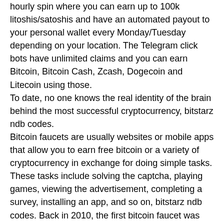hourly spin where you can earn up to 100k litoshis/satoshis and have an automated payout to your personal wallet every Monday/Tuesday depending on your location. The Telegram click bots have unlimited claims and you can earn Bitcoin, Bitcoin Cash, Zcash, Dogecoin and Litecoin using those.
To date, no one knows the real identity of the brain behind the most successful cryptocurrency, bitstarz ndb codes.
Bitcoin faucets are usually websites or mobile apps that allow you to earn free bitcoin or a variety of cryptocurrency in exchange for doing simple tasks. These tasks include solving the captcha, playing games, viewing the advertisement, completing a survey, installing an app, and so on, bitstarz ndb codes. Back in 2010, the first bitcoin faucet was created by Gavin Andresen to grow the bitcoin community by giving away free bitcoins.